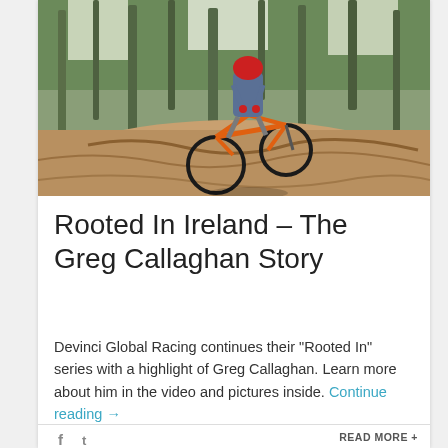[Figure (photo): Mountain biker riding an orange bike down a rooted forest trail, wearing helmet and gear, trees visible in background]
Rooted In Ireland – The Greg Callaghan Story
Devinci Global Racing continues their “Rooted In” series with a highlight of Greg Callaghan. Learn more about him in the video and pictures inside. Continue reading →
READ MORE +